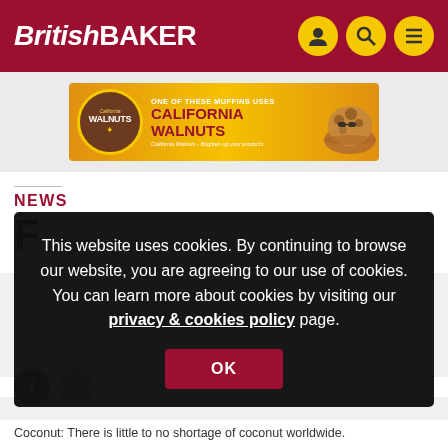British BAKER
[Figure (illustration): California Walnuts advertisement banner: 'ONE OF THESE MUFFINS USES CALIFORNIA WALNUTS - California Walnuts - Brighten up your products']
NEWS
F
12
This website uses cookies. By continuing to browse our website, you are agreeing to our use of cookies. You can learn more about cookies by visiting our privacy & cookies policy page.
OK
Coconut: There is little to no shortage of coconut worldwide.